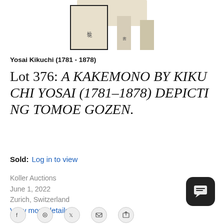[Figure (photo): Thumbnail images of a Japanese kakemono scroll painting. Three small thumbnail images shown: the first (selected, with border) shows a vertical scroll with Japanese kanji text, the second is a narrower view, and the third is a lighter/narrower version. Above the thumbnails is a cropped main image showing the top portion of the scroll.]
Yosai Kikuchi (1781 - 1878)
Lot 376: A KAKEMONO BY KIKUCHI YOSAI (1781–1878) DEPICTING TOMOE GOZEN.
Sold: Log in to view
Koller Auctions
June 1, 2022
Zurich, Switzerland
View more details